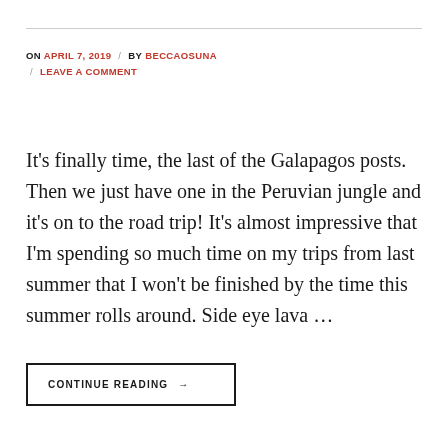ON APRIL 7, 2019 / BY BECCAOSUNA / LEAVE A COMMENT
It's finally time, the last of the Galapagos posts. Then we just have one in the Peruvian jungle and it's on to the road trip! It's almost impressive that I'm spending so much time on my trips from last summer that I won't be finished by the time this summer rolls around. Side eye lava …
CONTINUE READING →